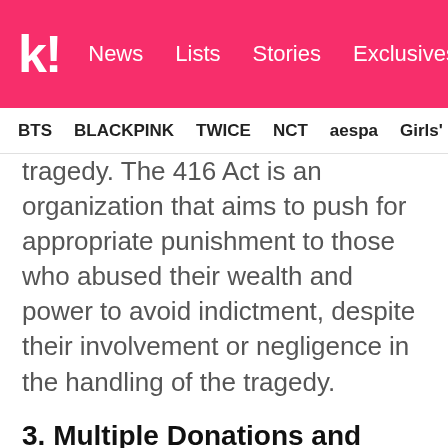k! News Lists Stories Exclusives
BTS BLACKPINK TWICE NCT aespa Girls' Generation
tragedy. The 416 Act is an organization that aims to push for appropriate punishment to those who abused their wealth and power to avoid indictment, despite their involvement or negligence in the handling of the tragedy.
3. Multiple Donations and Volunteer Involvement
EXO have donated to multiple charities as a group and as individual members. In addition to cash donations, Lay has also donated 10 ambulances through a charity event hosted by Bazaar magazine in 2016 using his real name,